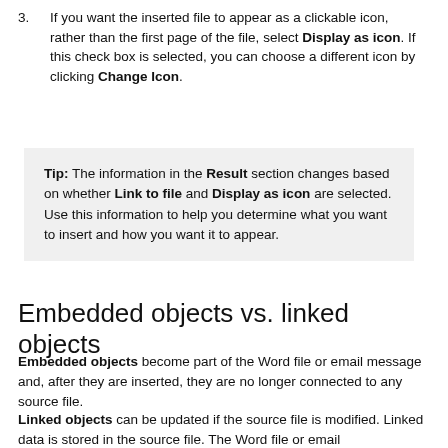3. If you want the inserted file to appear as a clickable icon, rather than the first page of the file, select Display as icon. If this check box is selected, you can choose a different icon by clicking Change Icon.
Tip: The information in the Result section changes based on whether Link to file and Display as icon are selected. Use this information to help you determine what you want to insert and how you want it to appear.
Embedded objects vs. linked objects
Embedded objects become part of the Word file or email message and, after they are inserted, they are no longer connected to any source file.
Linked objects can be updated if the source file is modified. Linked data is stored in the source file. The Word file or email